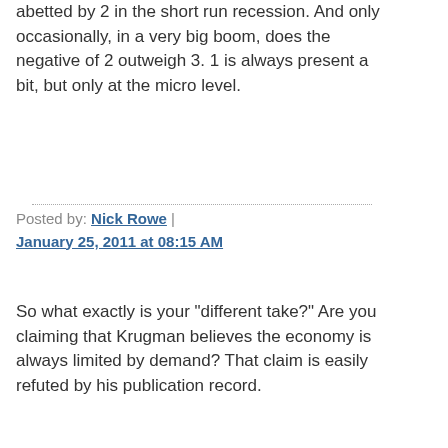abetted by 2 in the short run recession. And only occasionally, in a very big boom, does the negative of 2 outweigh 3. 1 is always present a bit, but only at the micro level.
Posted by: Nick Rowe | January 25, 2011 at 08:15 AM
So what exactly is your "different take?" Are you claiming that Krugman believes the economy is always limited by demand? That claim is easily refuted by his publication record.